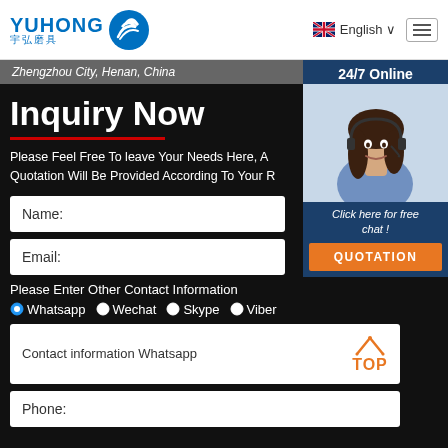[Figure (logo): YUHONG 宇弘磨具 logo with blue wave icon]
English
Zhengzhou City, Henan, China
Inquiry Now
Please Feel Free To leave Your Needs Here, A Quotation Will Be Provided According To Your R
24/7 Online
[Figure (photo): Woman with headset smiling - customer service representative]
Click here for free chat !
QUOTATION
Name:
Email:
Please Enter Other Contact Information
Whatsapp
Wechat
Skype
Viber
Contact information Whatsapp
Phone: